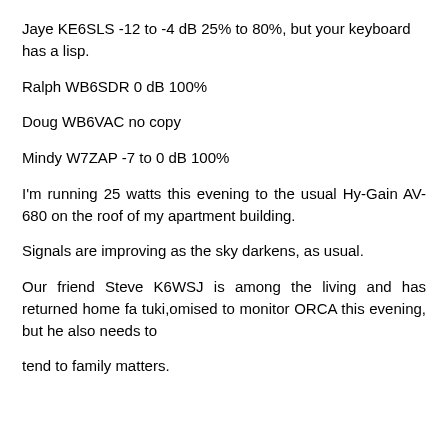Jaye KE6SLS -12 to -4 dB 25% to 80%, but your keyboard has a lisp.
Ralph WB6SDR 0 dB 100%
Doug WB6VAC no copy
Mindy W7ZAP -7 to 0 dB 100%
I'm running 25 watts this evening to the usual Hy-Gain AV-680 on the roof of my apartment building.
Signals are improving as the sky darkens, as usual.
Our friend Steve K6WSJ is among the living and has returned home fa tuki,omised to monitor ORCA this evening, but he also needs to
tend to family matters.